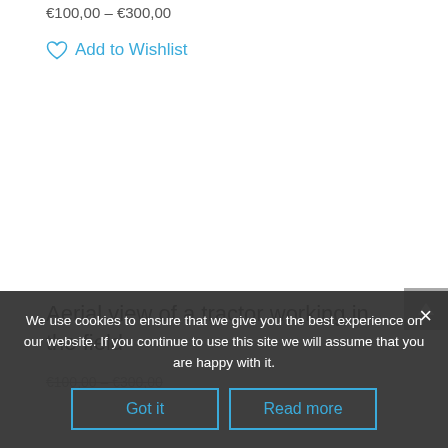€100,00 – €300,00
♡ Add to Wishlist
Aerial view of a tractor working in the field
€100,00 – €300,00
We use cookies to ensure that we give you the best experience on our website. If you continue to use this site we will assume that you are happy with it.
Got it
Read more